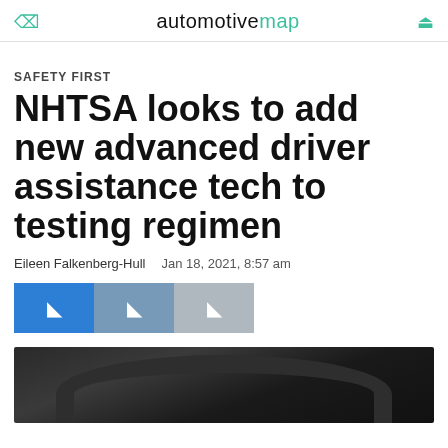automotivemap
SAFETY FIRST
NHTSA looks to add new advanced driver assistance tech to testing regimen
Eileen Falkenberg-Hull   Jan 18, 2021, 8:57 am
[Figure (other): Social share buttons: Facebook (blue), Twitter (light blue), LinkedIn (grey)]
[Figure (photo): Close-up photo of a car steering wheel interior, dark tones]